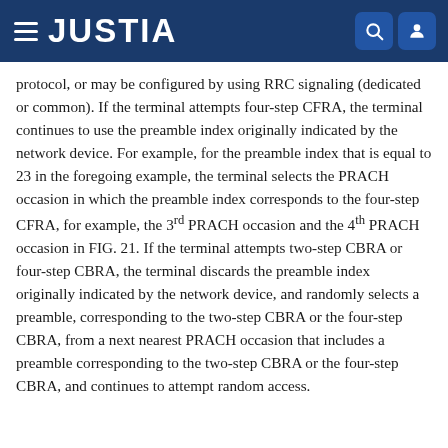JUSTIA
protocol, or may be configured by using RRC signaling (dedicated or common). If the terminal attempts four-step CFRA, the terminal continues to use the preamble index originally indicated by the network device. For example, for the preamble index that is equal to 23 in the foregoing example, the terminal selects the PRACH occasion in which the preamble index corresponds to the four-step CFRA, for example, the 3rd PRACH occasion and the 4th PRACH occasion in FIG. 21. If the terminal attempts two-step CBRA or four-step CBRA, the terminal discards the preamble index originally indicated by the network device, and randomly selects a preamble, corresponding to the two-step CBRA or the four-step CBRA, from a next nearest PRACH occasion that includes a preamble corresponding to the two-step CBRA or the four-step CBRA, and continues to attempt random access.